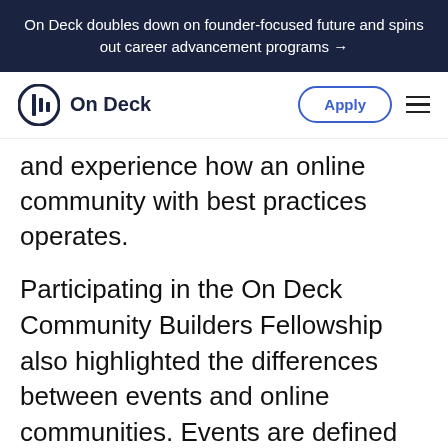On Deck doubles down on founder-focused future and spins out career advancement programs →
[Figure (logo): On Deck logo with circular icon and text 'On Deck', plus Apply button and hamburger menu]
and experience how an online community with best practices operates.
Participating in the On Deck Community Builders Fellowship also highlighted the differences between events and online communities. Events are defined by your ability to curate an experience filled with potential moments where people's lives are changed (finding a mentor, securing a partnership, getting invited to a mastermind, etc.). Online communities require you to create that